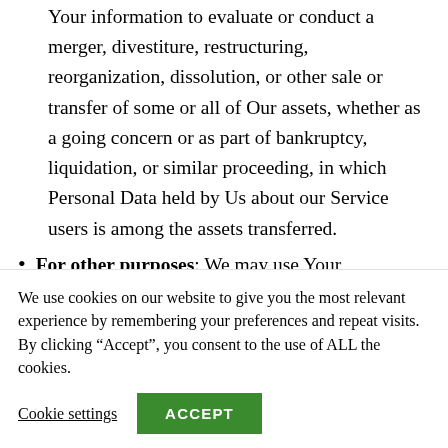Your information to evaluate or conduct a merger, divestiture, restructuring, reorganization, dissolution, or other sale or transfer of some or all of Our assets, whether as a going concern or as part of bankruptcy, liquidation, or similar proceeding, in which Personal Data held by Us about our Service users is among the assets transferred.
For other purposes: We may use Your information for other purposes, such as
We use cookies on our website to give you the most relevant experience by remembering your preferences and repeat visits. By clicking “Accept”, you consent to the use of ALL the cookies.